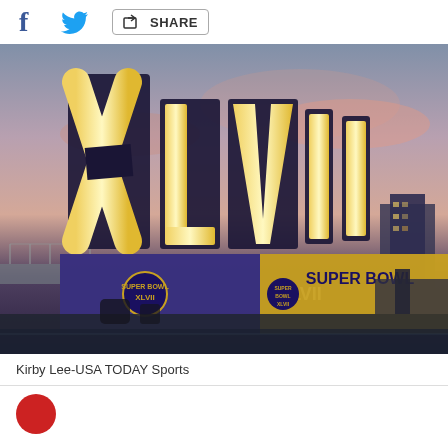Share buttons: Facebook, Twitter, Share
[Figure (photo): Super Bowl XLVII large illuminated Roman numeral sign displayed outdoors at dusk/sunset in New Orleans, with a bridge and buildings in background. Sign reads XLVII with Super Bowl XLVII branding on the base. Photo credit: Kirby Lee-USA TODAY Sports.]
Kirby Lee-USA TODAY Sports